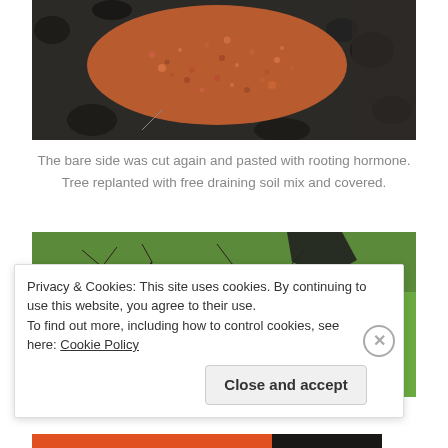[Figure (photo): Close-up photo of reddish-orange gravel or grit spread on dark soil around a tree base. The reddish substrate covers a circular area in the center, surrounded by darker soil and clumps.]
The bare side was cut again and pasted with rooting hormone. Tree replanted with free draining soil mix and covered.
[Figure (photo): Photo of a leafless shrub or small tree with many bare branches against a green grassy background. A dark plastic pot or bag is visible at the top center. A small red object is visible in the grass to the right.]
Privacy & Cookies: This site uses cookies. By continuing to use this website, you agree to their use.
To find out more, including how to control cookies, see here: Cookie Policy
Close and accept